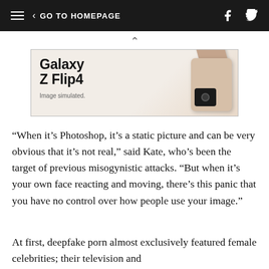GO TO HOMEPAGE
[Figure (photo): Partial advertisement for Samsung Galaxy Z Flip4 showing product text and a phone image on a beige/pink background. Text reads 'Galaxy Z Flip4' and 'Image simulated.']
“When it’s Photoshop, it’s a static picture and can be very obvious that it’s not real,” said Kate, who’s been the target of previous misogynistic attacks. “But when it’s your own face reacting and moving, there’s this panic that you have no control over how people use your image.”
At first, deepfake porn almost exclusively featured female celebrities; their television and